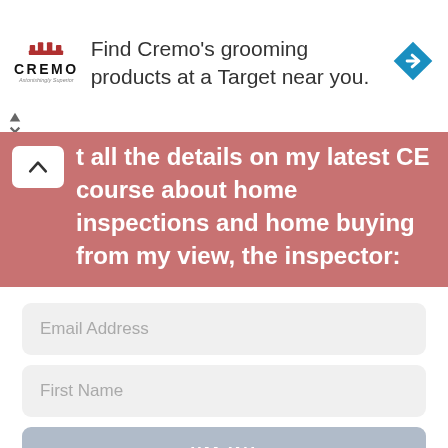[Figure (illustration): Cremo brand advertisement banner with logo on left, text 'Find Cremo's grooming products at a Target near you.' in center, and blue navigation arrow icon on right]
t all the details on my latest CE course about home inspections and home buying from my view, the inspector:
Email Address
First Name
I'M IN!
We respect your privacy. Unsubscribe at any time.